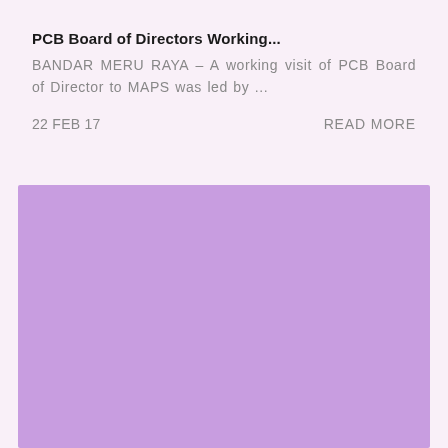PCB Board of Directors Working...
BANDAR MERU RAYA – A working visit of PCB Board of Director to MAPS was led by ...
22 FEB 17
READ MORE
[Figure (illustration): Solid purple/lavender colored rectangle block filling the lower portion of the page]